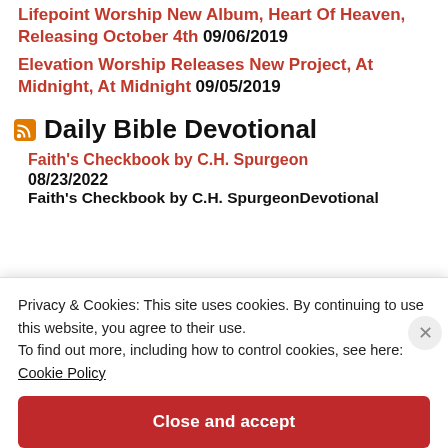Lifepoint Worship New Album, Heart Of Heaven, Releasing October 4th 09/06/2019
Elevation Worship Releases New Project, At Midnight, At Midnight 09/05/2019
Daily Bible Devotional
Faith's Checkbook by C.H. Spurgeon 08/23/2022
Faith's Checkbook by C.H. SpurgeonDevotional
Privacy & Cookies: This site uses cookies. By continuing to use this website, you agree to their use.
To find out more, including how to control cookies, see here: Cookie Policy
Close and accept